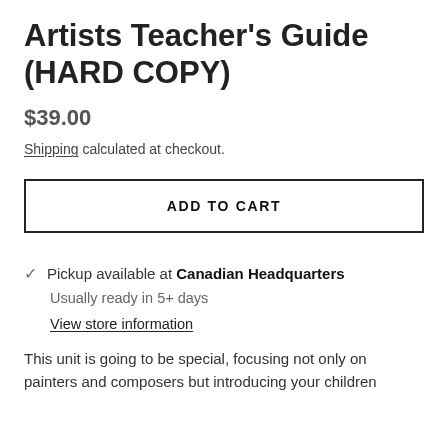Artists Teacher's Guide (HARD COPY)
$39.00
Shipping calculated at checkout.
ADD TO CART
Pickup available at Canadian Headquarters
Usually ready in 5+ days
View store information
This unit is going to be special, focusing not only on painters and composers but introducing your children